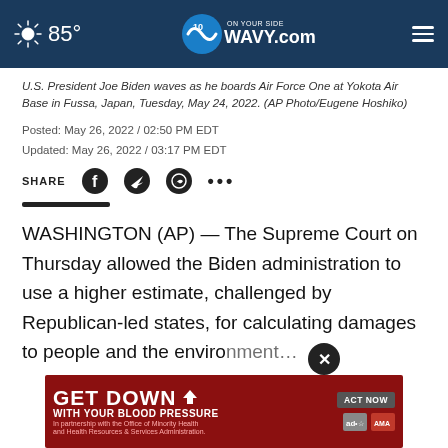85° WAVY.com ON YOUR SIDE
U.S. President Joe Biden waves as he boards Air Force One at Yokota Air Base in Fussa, Japan, Tuesday, May 24, 2022. (AP Photo/Eugene Hoshiko)
Posted: May 26, 2022 / 02:50 PM EDT
Updated: May 26, 2022 / 03:17 PM EDT
SHARE
WASHINGTON (AP) — The Supreme Court on Thursday allowed the Biden administration to use a higher estimate, challenged by Republican-led states, for calculating damages to people and the enviro...